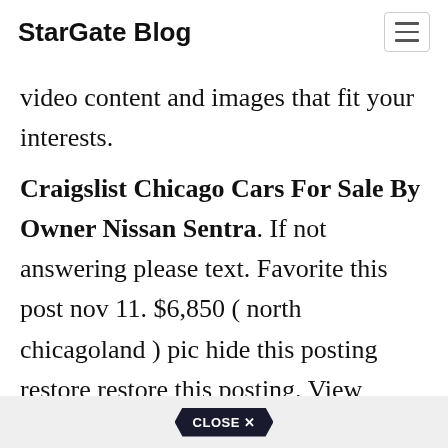Stargate Blog
video content and images that fit your interests.
Craigslist Chicago Cars For Sale By Owner Nissan Sentra. If not answering please text. Favorite this post nov 11. $6,850 ( north chicagoland ) pic hide this posting restore restore this posting. View vehicle details and get a free price quote today!
[Figure (other): CLOSE X button in a hexagonal/chevron shape at the bottom of the page]